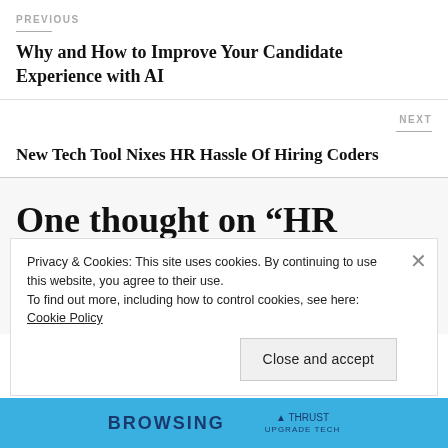PREVIOUS
Why and How to Improve Your Candidate Experience with AI
NEXT
New Tech Tool Nixes HR Hassle Of Hiring Coders
One thought on “HR Outsourcing May Steady the
Privacy & Cookies: This site uses cookies. By continuing to use this website, you agree to their use.
To find out more, including how to control cookies, see here: Cookie Policy
Close and accept